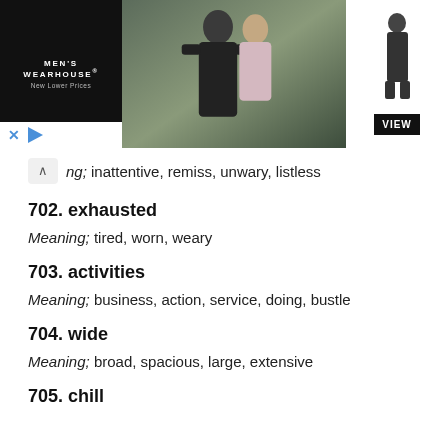[Figure (photo): Men's Wearhouse advertisement banner showing a couple in formal wear and a man in a suit, with a VIEW button]
…ing; inattentive, remiss, unwary, listless
702. exhausted
Meaning; tired, worn, weary
703. activities
Meaning; business, action, service, doing, bustle
704. wide
Meaning; broad, spacious, large, extensive
705. chill